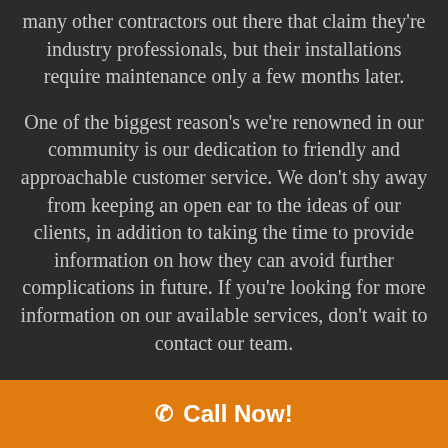many other contractors out there that claim they're industry professionals, but their installations require maintenance only a few months later.
One of the biggest reason's we're renowned in our community is our dedication to friendly and approachable customer service. We don't shy away from keeping an open ear to the ideas of our clients, in addition to taking the time to provide information on how they can avoid further complications in future. If you're looking for more information on our available services, don't wait to contact our team.
Call Now!